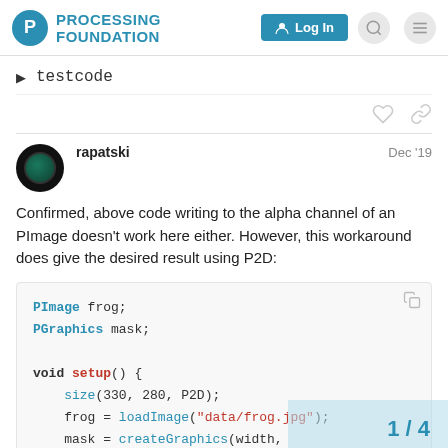PROCESSING FOUNDATION — Log In
▶ testcode
rapatski  Dec '19
Confirmed, above code writing to the alpha channel of an PImage doesn't work here either. However, this workaround does give the desired result using P2D:
PImage frog;
PGraphics mask;

void setup() {
    size(330, 280, P2D);
    frog = loadImage("data/frog.jpg");
    mask = createGraphics(width,
}